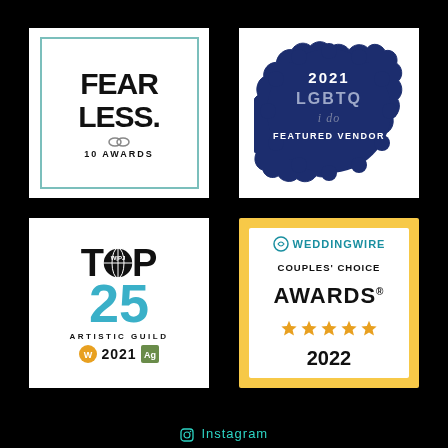[Figure (logo): Fearless Photography badge. White background with teal border. Bold text 'FEAR LESS.' with two rings icon and '10 AWARDS' below.]
[Figure (logo): 2021 LGBTQ i do Featured Vendor badge. Dark navy blue scalloped/rosette shape with white and light text.]
[Figure (logo): WIPJ Top 25 Artistic Guild 2021 badge. White background, large black TOP with globe O, large teal 25, 'ARTISTIC GUILD' text, orange W badge and Ag logo with '2021'.]
[Figure (logo): WeddingWire Couples Choice Awards 2022 badge. Gold/yellow outer frame, white inner with WeddingWire logo, 'COUPLES CHOICE AWARDS' text, 5 gold stars, '2022'.]
Instagram